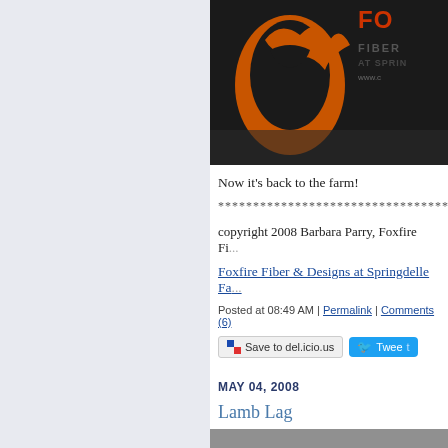[Figure (photo): Top portion of a black banner/sign for Foxfire Fiber at Springdelle Farm, showing an orange fox logo and text 'FIBER AT SPRIN www.c']
Now it's back to the farm!
************************************************
copyright 2008 Barbara Parry, Foxfire Fi...
Foxfire Fiber & Designs at Springdelle Fa...
Posted at 08:49 AM | Permalink | Comments (6)
Save to del.icio.us   Tweet
MAY 04, 2008
Lamb Lag
[Figure (photo): Close-up photo of a young white lamb looking up at the camera, lying in hay/straw]